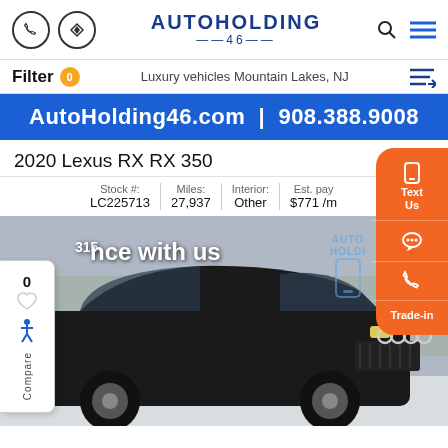AUTOHOLDING 46
Filter 0   Luxury vehicles Mountain Lakes, NJ
AutoHolding46.com  |  908.388.9008
2020 Lexus RX RX 350   $43,
| Stock #: | Miles: | Interior: | Est. pay |
| --- | --- | --- | --- |
| LC225713 | 27,937 | Other | $771 /m |
[Figure (photo): Black SUV (Audi) with Auto Holding 46 logo watermark and finance promotion text overlay]